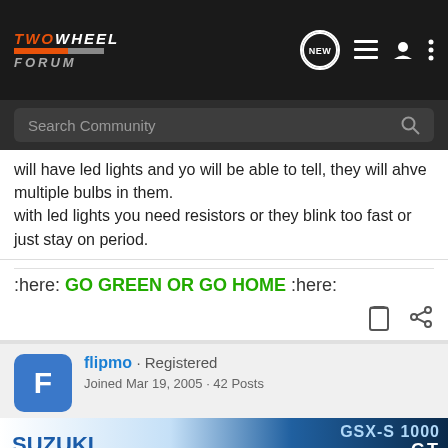TWOWHEEL FORUM
will have led lights and yo will be able to tell, they will ahve multiple bulbs in them.
with led lights you need resistors or they blink too fast or just stay on period.
:here: GO GREEN OR GO HOME :here:
flipmo · Registered
Joined Mar 19, 2005 · 42 Posts
[Figure (screenshot): Suzuki GSX-S1000GT advertisement banner]
Discu